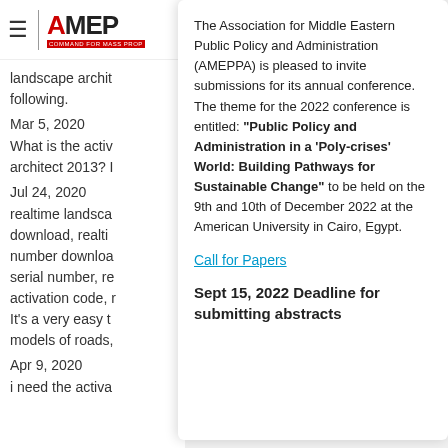[Figure (logo): AMEPPA logo with hamburger menu icon and red bar]
landscape archit following.
Mar 5, 2020
What is the activ architect 2013? I
Jul 24, 2020
realtime landsca download, realti number downloa serial number, re activation code, It's a very easy t models of roads,
Apr 9, 2020
i need the activa
The Association for Middle Eastern Public Policy and Administration (AMEPPA) is pleased to invite submissions for its annual conference. The theme for the 2022 conference is entitled: "Public Policy and Administration in a 'Poly-crises' World: Building Pathways for Sustainable Change" to be held on the 9th and 10th of December 2022 at the American University in Cairo, Egypt.
Call for Papers
Sept 15, 2022 Deadline for submitting abstracts